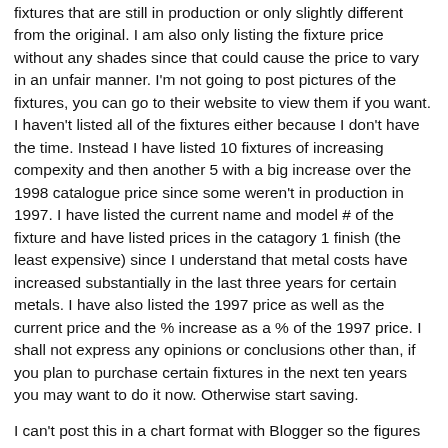fixtures that are still in production or only slightly different from the original. I am also only listing the fixture price without any shades since that could cause the price to vary in an unfair manner. I'm not going to post pictures of the fixtures, you can go to their website to view them if you want. I haven't listed all of the fixtures either because I don't have the time. Instead I have listed 10 fixtures of increasing compexity and then another 5 with a big increase over the 1998 catalogue price since some weren't in production in 1997. I have listed the current name and model # of the fixture and have listed prices in the catagory 1 finish (the least expensive) since I understand that metal costs have increased substantially in the last three years for certain metals. I have also listed the 1997 price as well as the current price and the % increase as a % of the 1997 price. I shall not express any opinions or conclusions other than, if you plan to purchase certain fixtures in the next ten years you may want to do it now. Otherwise start saving.
I can't post this in a chart format with Blogger so the figures may not line up properly with the column title.
Fixture Name/Model